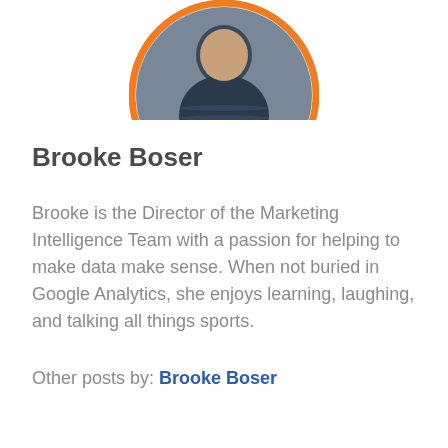[Figure (photo): Circular profile photo of Brooke Boser with orange border, showing a person in a striped navy top against a gray background. Photo is partially cropped at top of page.]
Brooke Boser
Brooke is the Director of the Marketing Intelligence Team with a passion for helping to make data make sense. When not buried in Google Analytics, she enjoys learning, laughing, and talking all things sports.
Other posts by: Brooke Boser